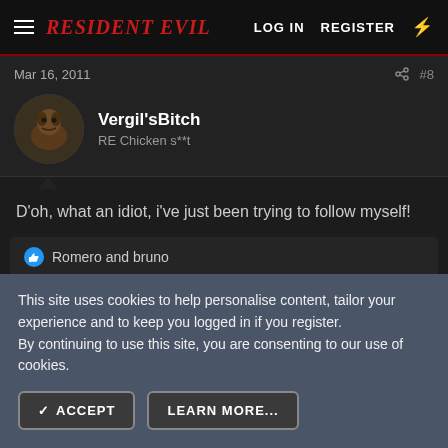RESIDENT EVIL — LOG IN  REGISTER
Mar 16, 2011  #8
Vergil'sBitch
RE Chicken s**t
D'oh, what an idiot, i've just been trying to follow myself!
👍 Romero and bruno
Mar 16, 2011  #9
This site uses cookies to help personalise content, tailor your experience and to keep you logged in if you register.
By continuing to use this site, you are consenting to our use of cookies.
✓ ACCEPT   LEARN MORE...